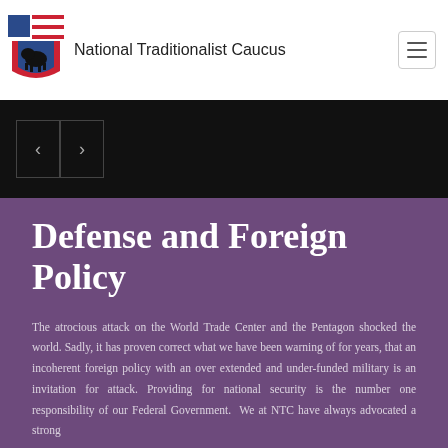National Traditionalist Caucus
Defense and Foreign Policy
The atrocious attack on the World Trade Center and the Pentagon shocked the world. Sadly, it has proven correct what we have been warning of for years, that an incoherent foreign policy with an over extended and under-funded military is an invitation for attack. Providing for national security is the number one responsibility of our Federal Government.  We at NTC have always advocated a strong